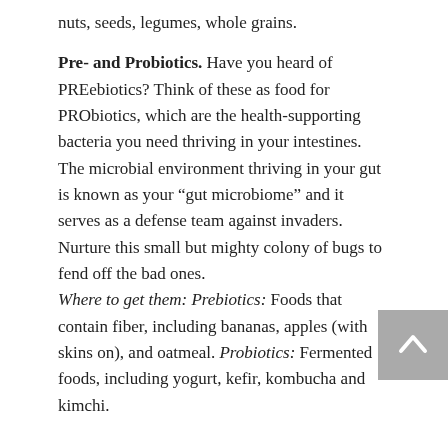nuts, seeds, legumes, whole grains.
Pre- and Probiotics. Have you heard of PREebiotics? Think of these as food for PRObiotics, which are the health-supporting bacteria you need thriving in your intestines. The microbial environment thriving in your gut is known as your “gut microbiome” and it serves as a defense team against invaders. Nurture this small but mighty colony of bugs to fend off the bad ones. Where to get them: Prebiotics: Foods that contain fiber, including bananas, apples (with skins on), and oatmeal. Probiotics: Fermented foods, including yogurt, kefir, kombucha and kimchi.